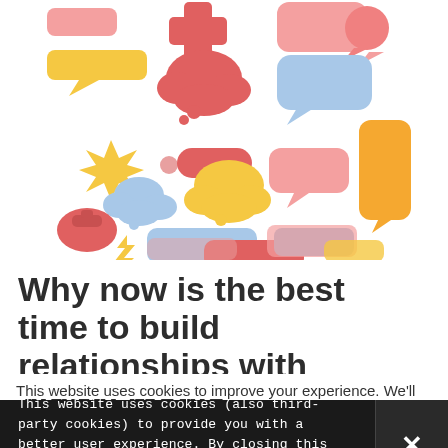[Figure (illustration): Colorful collection of speech bubbles and chat icons in various shapes and colors (pink, red, coral, blue, yellow/gold, light blue) on a white background, with some bag and lightning bolt shapes mixed in.]
Why now is the best time to build relationships with digital media
This website uses cookies to improve your experience. We'll
This website uses cookies (also third-party cookies) to provide you with a better user experience. By closing this banner you agree to the use of cookies. Learn more